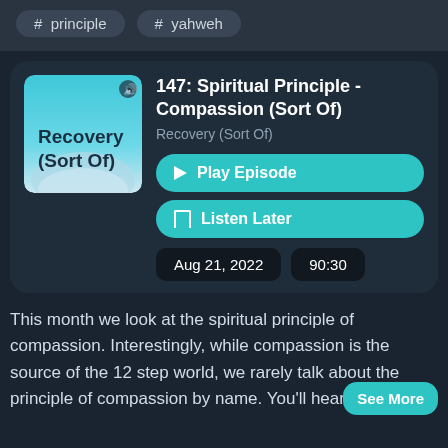# principle
# yahweh
147: Spiritual Principle - Compassion (Sort Of)
Recovery (Sort Of)
Play Episode
Listen Later
Aug 21, 2022
90:30
This month we look at the spiritual principle of compassion. Interestingly, while compassion is the source of the 12 step world, we rarely talk about the principle of compassion by name. You'll hear honesty,
See More